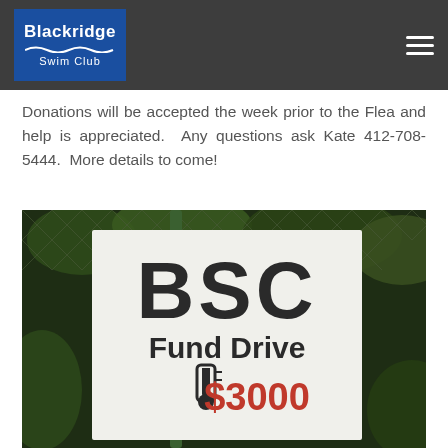Blackridge Swim Club
Donations will be accepted the week prior to the Flea and help is appreciated.  Any questions ask Kate 412-708-5444.  More details to come!
[Figure (photo): Photo of a BSC Fund Drive sign reading 'BSC Fund Drive $3000' mounted on a chain-link fence outdoors.]